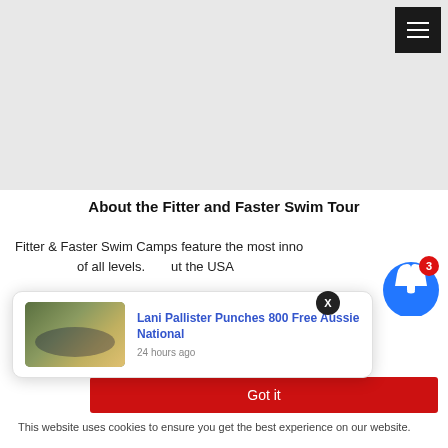[Figure (screenshot): Gray header area of a website with a dark hamburger menu button in the top right corner]
About the Fitter and Faster Swim Tour
Fitter & Faster Swim Camps feature the most innovative, mentally and physically stimulating swim clinics for swimmers of all levels. throughout the USA
[Figure (other): Browser notification popup card showing 'Lani Pallister Punches 800 Free Aussie National' posted 24 hours ago, with a swimming photo thumbnail and a blue bell notification icon with badge count 3]
Got it
This website uses cookies to ensure you get the best experience on our website.